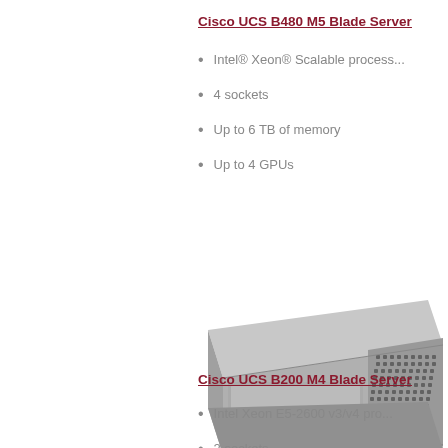Cisco UCS B480 M5 Blade Server
Intel® Xeon® Scalable processors
4 sockets
Up to 6 TB of memory
Up to 4 GPUs
[Figure (photo): Cisco UCS blade server hardware photo, angled view showing front panel with ventilation grilles and drive bays]
Cisco UCS B200 M4 Blade Server
Intel Xeon E5-2600 v3/v4 processors
2 sockets